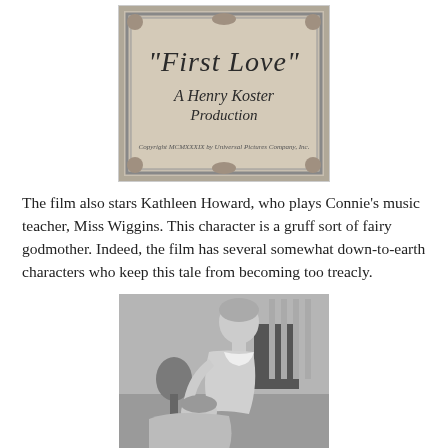[Figure (photo): Black and white title card image reading 'First Love - A Henry Koster Production', with ornate decorative frame border, and copyright text 'Copyright MCMXXXIX by Universal Pictures Company, Inc.']
The film also stars Kathleen Howard, who plays Connie's music teacher, Miss Wiggins. This character is a gruff sort of fairy godmother. Indeed, the film has several somewhat down-to-earth characters who keep this tale from becoming too treacly.
[Figure (photo): Black and white film still showing two people, one leaning over the other, in what appears to be an indoor scene.]